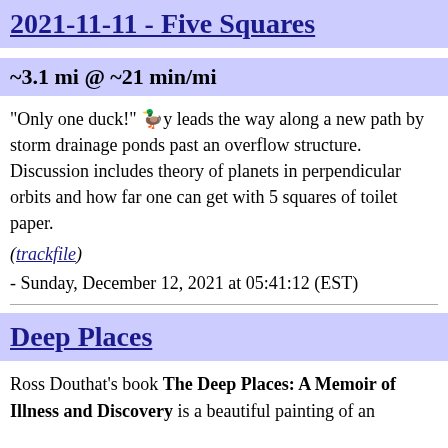2021-11-11 - Five Squares
~3.1 mi @ ~21 min/mi
"Only one duck!" 🦆y leads the way along a new path by storm drainage ponds past an overflow structure. Discussion includes theory of planets in perpendicular orbits and how far one can get with 5 squares of toilet paper.
(trackfile)
- Sunday, December 12, 2021 at 05:41:12 (EST)
Deep Places
Ross Douthat's book The Deep Places: A Memoir of Illness and Discovery is a beautiful painting of an introspective journey...